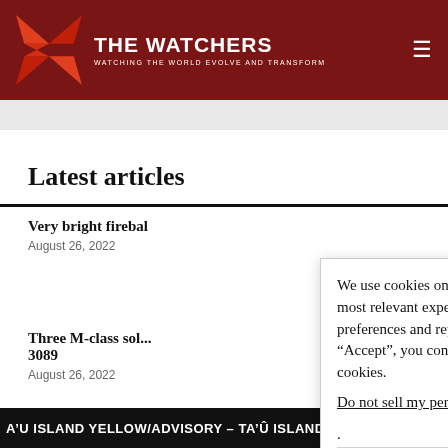THE WATCHERS — WATCHING THE WORLD EVOLVE AND TRANSFORM
Latest articles
Very bright fireball
August 26, 2022
Three M-class sol... 3089
August 26, 2022
We use cookies on our website to give you the most relevant experience by remembering your preferences and repeat visits. By clicking “Accept”, you consent to the use of ALL the cookies.
Do not sell my personal information.
A'U ISLAND YELLOW/ADVISORY - TA'Û ISLAND EARTHQUAKE S